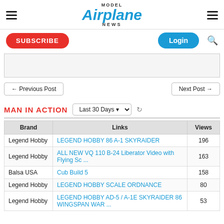MODEL Airplane NEWS
SUBSCRIBE | Login
[Figure (other): Advertisement banner placeholder (gray rectangle)]
← Previous Post | Next Post →
MAN IN ACTION
| Brand | Links | Views |
| --- | --- | --- |
| Legend Hobby | LEGEND HOBBY 86 A-1 SKYRAIDER | 196 |
| Legend Hobby | ALL NEW VQ 110 B-24 Liberator Video with Flying Sc ... | 163 |
| Balsa USA | Cub Build 5 | 158 |
| Legend Hobby | LEGEND HOBBY SCALE ORDNANCE | 80 |
| Legend Hobby | LEGEND HOBBY AD-5 / A-1E SKYRAIDER 86 WINGSPAN WAR ... | 53 |